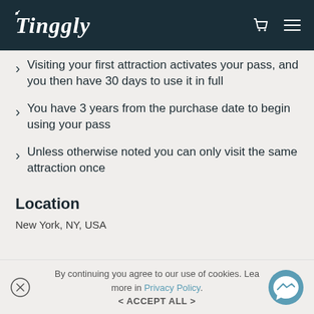Tinggly
Visiting your first attraction activates your pass, and you then have 30 days to use it in full
You have 3 years from the purchase date to begin using your pass
Unless otherwise noted you can only visit the same attraction once
Location
New York, NY, USA
By continuing you agree to our use of cookies. Learn more in Privacy Policy.
< ACCEPT ALL >